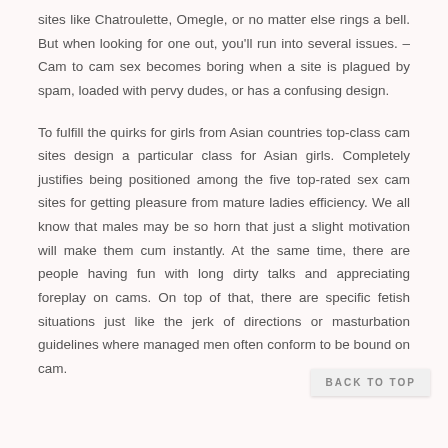sites like Chatroulette, Omegle, or no matter else rings a bell. But when looking for one out, you'll run into several issues. – Cam to cam sex becomes boring when a site is plagued by spam, loaded with pervy dudes, or has a confusing design.

To fulfill the quirks for girls from Asian countries top-class cam sites design a particular class for Asian girls. Completely justifies being positioned among the five top-rated sex cam sites for getting pleasure from mature ladies efficiency. We all know that males may be so horn that just a slight motivation will make them cum instantly. At the same time, there are people having fun with long dirty talks and appreciating foreplay on cams. On top of that, there are specific fetish situations just like the jerk of directions or masturbation guidelines where managed men often conform to be bound on cam.
BACK TO TOP